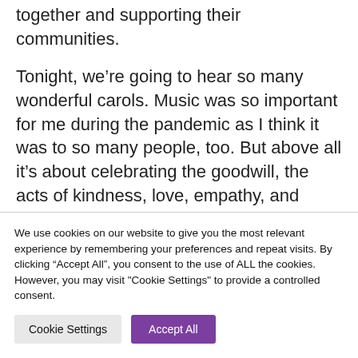together and supporting their communities.
Tonight, we're going to hear so many wonderful carols. Music was so important for me during the pandemic as I think it was to so many people, too. But above all it's about celebrating the goodwill, the acts of kindness, love, empathy, and compassion to help people come through these difficult times.
We use cookies on our website to give you the most relevant experience by remembering your preferences and repeat visits. By clicking “Accept All”, you consent to the use of ALL the cookies. However, you may visit "Cookie Settings" to provide a controlled consent.